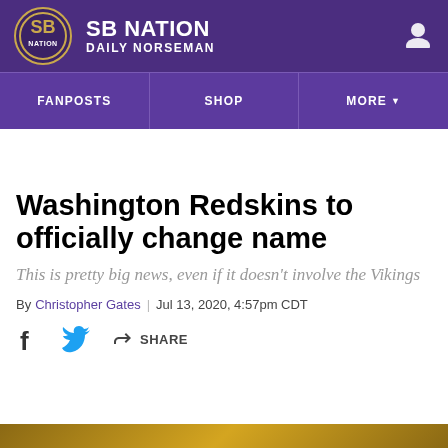SB NATION | DAILY NORSEMAN
FANPOSTS | SHOP | MORE
Washington Redskins to officially change name
This is pretty big news, even if it doesn't involve the Vikings
By Christopher Gates | Jul 13, 2020, 4:57pm CDT
SHARE